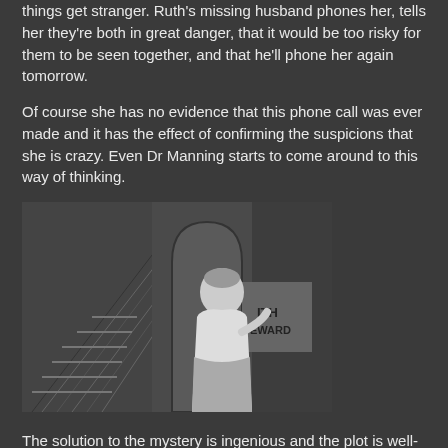things get stranger. Ruth's missing husband phones her, tells her they're both in great danger, that it would be too risky for them to be seen together, and that he'll phone her again tomorrow.
Of course she has no evidence that this phone call was ever made and it has the effect of confirming the suspicions that she is crazy. Even Dr Manning starts to come around to this way of thinking.
[Figure (photo): Black and white still from a film showing a woman in 1940s-50s attire standing near a door, looking back over her shoulder. A staircase is visible in the background. A sign partially visible reads 'ITH' and 'EWARD'.]
The solution to the mystery is ingenious and the plot is well-